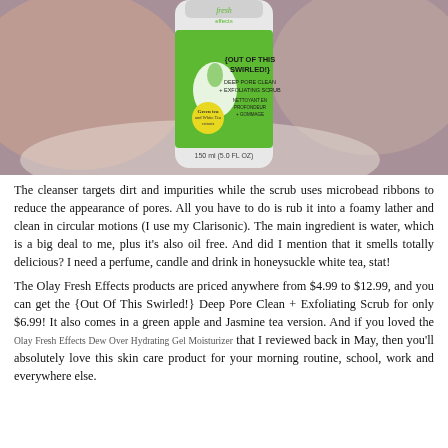[Figure (photo): Photo of an Olay Fresh Effects {Out Of This Swirled!} Deep Pore Clean + Exfoliating Scrub bottle (150 ml / 5.0 FL OZ) standing upright on a surface with a blurred background.]
The cleanser targets dirt and impurities while the scrub uses microbead ribbons to reduce the appearance of pores. All you have to do is rub it into a foamy lather and clean in circular motions (I use my Clarisonic). The main ingredient is water, which is a big deal to me, plus it's also oil free. And did I mention that it smells totally delicious? I need a perfume, candle and drink in honeysuckle white tea, stat!
The Olay Fresh Effects products are priced anywhere from $4.99 to $12.99, and you can get the {Out Of This Swirled!} Deep Pore Clean + Exfoliating Scrub for only $6.99! It also comes in a green apple and Jasmine tea version. And if you loved the Olay Fresh Effects Dew Over Hydrating Gel Moisturizer that I reviewed back in May, then you'll absolutely love this skin care product for your morning routine, school, work and everywhere else.